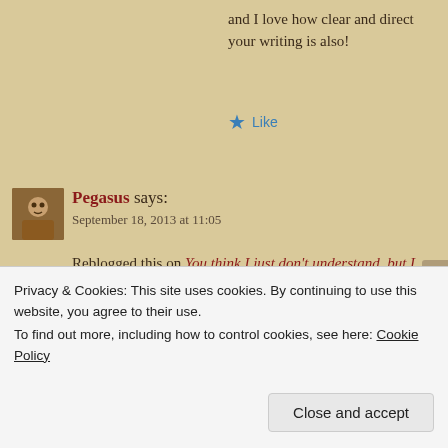and I love how clear and direct your writing is also!
★ Like
Pegasus says: September 18, 2013 at 11:05
Reblogged this on You think I just don't understand, but I don't believe you. and commented:
An interesting new blog you should check out.
★ Like
Privacy & Cookies: This site uses cookies. By continuing to use this website, you agree to their use.
To find out more, including how to control cookies, see here: Cookie Policy
Close and accept